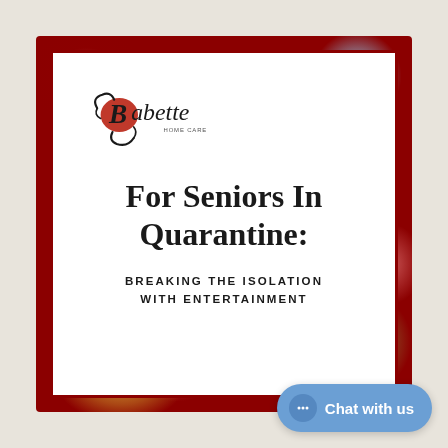[Figure (logo): Babette Home Care logo with decorative script and red heart/swirl element]
For Seniors In Quarantine:
BREAKING THE ISOLATION WITH ENTERTAINMENT